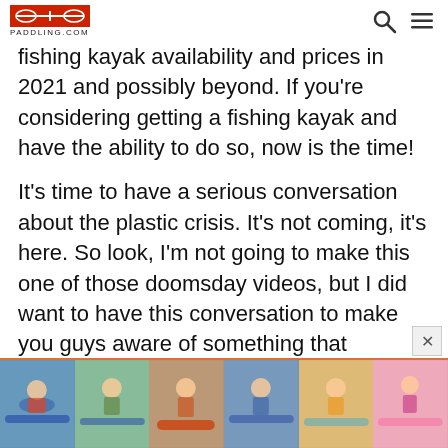PADDLING.COM
fishing kayak availability and prices in 2021 and possibly beyond. If you're considering getting a fishing kayak and have the ability to do so, now is the time!
It's time to have a serious conversation about the plastic crisis. It's not coming, it's here. So look, I'm not going to make this one of those doomsday videos, but I did want to have this conversation to make you guys aware of something that maybe you're not aware of. I follow this
[Figure (photo): Advertisement banner showing six photos of people kayaking and paddling in various outdoor water settings]